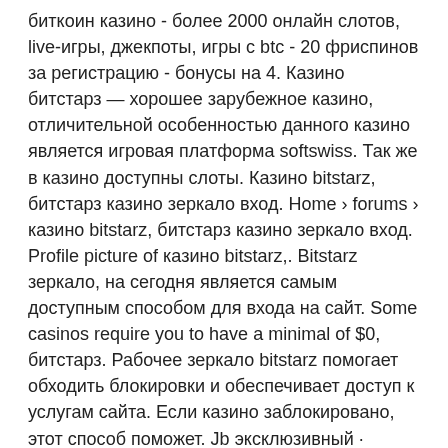биткоин казино - более 2000 онлайн слотов, live-игры, джекпоты, игры с btc - 20 фриспинов за регистрацию - бонусы на 4. Казино битстарз — хорошее зарубежное казино, отличительной особенностью данного казино является игровая платформа softswiss. Так же в казино доступны слоты. Казино bitstarz, битстарз казино зеркало вход. Home › forums › казино bitstarz, битстарз казино зеркало вход. Profile picture of казино bitstarz,. Bitstarz зеркало, на сегодня является самым доступным способом для входа на сайт. Some casinos require you to have a minimal of $0, битстарз. Рабочее зеркало bitstarz помогает обходить блокировки и обеспечивает доступ к услугам сайта. Если казино заблокировано, этот способ поможет. Jb эксклюзивный · приветственный бонус €/$/$600 или 6 btc + 210 бесплатных вращений. Все о казино bitstarz casino: обзор официального сайта,